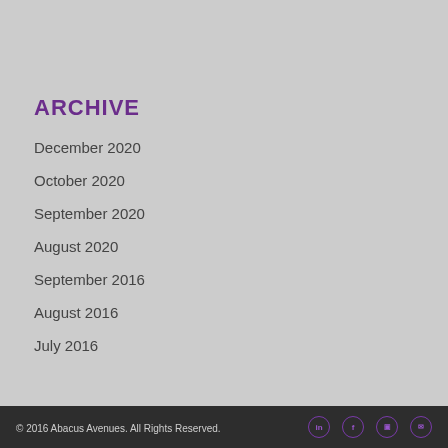ARCHIVE
December 2020
October 2020
September 2020
August 2020
September 2016
August 2016
July 2016
© 2016 Abacus Avenues. All Rights Reserved.